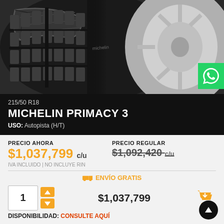[Figure (photo): Close-up photo of a Michelin tire tread with a silver alloy wheel visible on the right side. Dark background with detailed tire grooves.]
215/50 R18
MICHELIN PRIMACY 3
USO: Autopista (H/T)
PRECIO AHORA
$1,037,799 c/u
PRECIO REGULAR
$1,092,420 c/u
IVA INCLUIDO | NO INCLUYE RIN
ENVÍO GRATIS
1
$1,037,799
DISPONIBILIDAD: CONSULTE AQUÍ
VER DETALLE